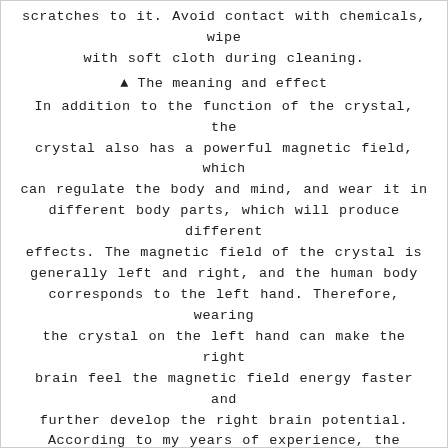scratches to it. Avoid contact with chemicals, wipe with soft cloth during cleaning.
▲ The meaning and effect
In addition to the function of the crystal, the crystal also has a powerful magnetic field, which can regulate the body and mind, and wear it in different body parts, which will produce different effects. The magnetic field of the crystal is generally left and right, and the human body corresponds to the left hand. Therefore, wearing the crystal on the left hand can make the right brain feel the magnetic field energy faster and further develop the right brain potential. According to my years of experience, the crystal bracelets that players are interested in the market are the following ten.
1. Fulu Shou